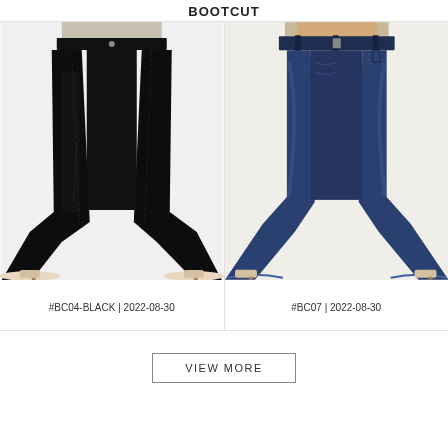BOOTCUT
[Figure (photo): Model wearing black high-rise bootcut jeans with nude heels against white background]
#BC04-BLACK | 2022-08-30
[Figure (photo): Model wearing dark blue high-rise bootcut/flared jeans with nude heels against white background]
#BC07 | 2022-08-30
VIEW MORE